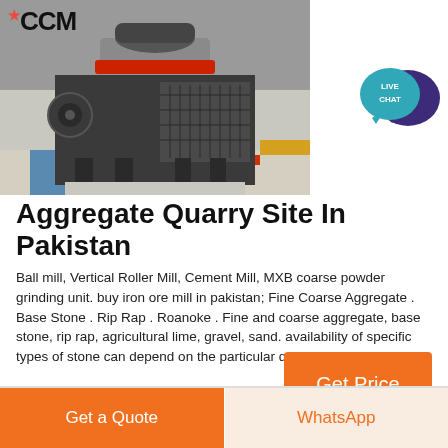[Figure (photo): Industrial cone/VSI crusher machine in a factory setting, with CCM logo in the top left corner]
[Figure (illustration): Live Chat button icon — teal speech bubble with dark purple chat bubble overlay, text LIVE CHAT inside]
Aggregate Quarry Site In Pakistan
Ball mill, Vertical Roller Mill, Cement Mill, MXB coarse powder grinding unit. buy iron ore mill in pakistan; Fine Coarse Aggregate . Base Stone . Rip Rap . Roanoke . Fine and coarse aggregate, base stone, rip rap, agricultural lime, gravel, sand. availability of specific types of stone can depend on the particular quarry.
Get Price
Get a Quote
WhatsApp